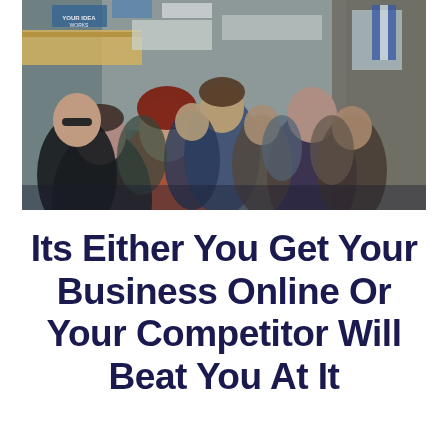[Figure (photo): A crowded outdoor market street filled with many people walking, with shops and colorful signs on both sides and awnings overhead.]
Its Either You Get Your Business Online Or Your Competitor Will Beat You At It